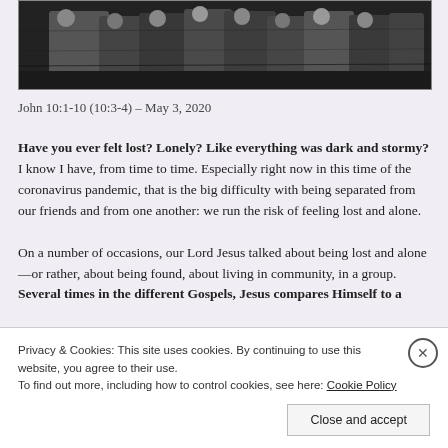[Figure (illustration): Black and white engraving/illustration depicting a group of people, possibly a biblical scene with figures in robes]
John 10:1-10 (10:3-4) – May 3, 2020
Have you ever felt lost? Lonely? Like everything was dark and stormy? I know I have, from time to time. Especially right now in this time of the coronavirus pandemic, that is the big difficulty with being separated from our friends and from one another: we run the risk of feeling lost and alone.

On a number of occasions, our Lord Jesus talked about being lost and alone—or rather, about being found, about living in community, in a group. Several times in the different Gospels, Jesus compares Himself to a
Privacy & Cookies: This site uses cookies. By continuing to use this website, you agree to their use.
To find out more, including how to control cookies, see here: Cookie Policy
Close and accept